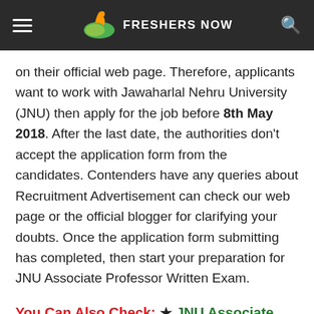FRESHERS NOW
on their official web page. Therefore, applicants want to work with Jawaharlal Nehru University (JNU) then apply for the job before 8th May 2018. After the last date, the authorities don't accept the application form from the candidates. Contenders have any queries about Recruitment Advertisement can check our web page or the official blogger for clarifying your doubts. Once the application form submitting has completed, then start your preparation for JNU Associate Professor Written Exam.
You Can Also Check: ★ JNU Associate Professor Result